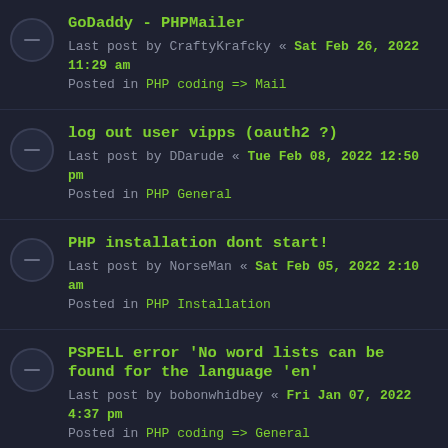GoDaddy - PHPMailer
Last post by CraftyKrafcky « Sat Feb 26, 2022 11:29 am
Posted in PHP coding => Mail
log out user vipps (oauth2 ?)
Last post by DDarude « Tue Feb 08, 2022 12:50 pm
Posted in PHP General
PHP installation dont start!
Last post by NorseMan « Sat Feb 05, 2022 2:10 am
Posted in PHP Installation
PSPELL error 'No word lists can be found for the language 'en'
Last post by bobonwhidbey « Fri Jan 07, 2022 4:37 pm
Posted in PHP coding => General